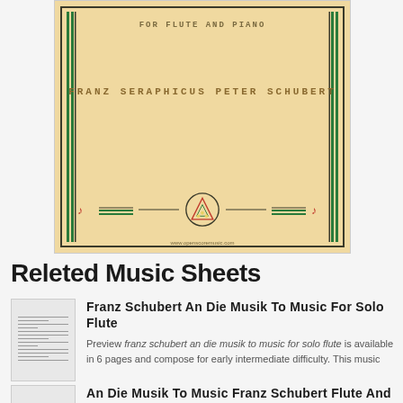[Figure (illustration): Book cover for a Schubert flute and piano piece on tan/beige background with decorative green and black border lines, corner ornaments, subtitle 'FOR FLUTE AND PIANO', author 'FRANZ SERAPHICUS PETER SCHUBERT', and a circular triangle logo at the bottom with website www.openscoremusic.com]
Releted Music Sheets
[Figure (illustration): Thumbnail image of sheet music for Franz Schubert An Die Musik To Music For Solo Flute]
Franz Schubert An Die Musik To Music For Solo Flute
Preview franz schubert an die musik to music for solo flute is available in 6 pages and compose for early intermediate difficulty. This music
[Figure (illustration): Thumbnail image of sheet music for An Die Musik To Music Franz Schubert Flute And Piano]
An Die Musik To Music Franz Schubert Flute And Piano